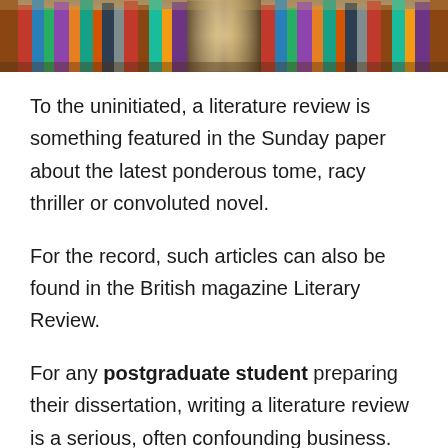[Figure (photo): A library bookshelf aisle viewed from below, filled with colorful books on both sides.]
To the uninitiated, a literature review is something featured in the Sunday paper about the latest ponderous tome, racy thriller or convoluted novel.
For the record, such articles can also be found in the British magazine Literary Review.
For any postgraduate student preparing their dissertation, writing a literature review is a serious, often confounding business. What is the purpose and scope of such a review? Why is it an integral part of one's dissertation? What does a good